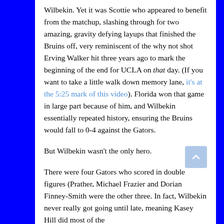Wilbekin. Yet it was Scottie who appeared to benefit from the matchup, slashing through for two amazing, gravity defying layups that finished the Bruins off, very reminiscent of the why not shot Erving Walker hit three years ago to mark the beginning of the end for UCLA on that day. (If you want to take a little walk down memory lane, it's at the 5:25 mark of this video). Florida won that game in large part because of him, and Wilbekin essentially repeated history, ensuring the Bruins would fall to 0-4 against the Gators.
But Wilbekin wasn't the only hero.
There were four Gators who scored in double figures (Prather, Michael Frazier and Dorian Finney-Smith were the other three. In fact, Wilbekin never really got going until late, meaning Kasey Hill did most of the